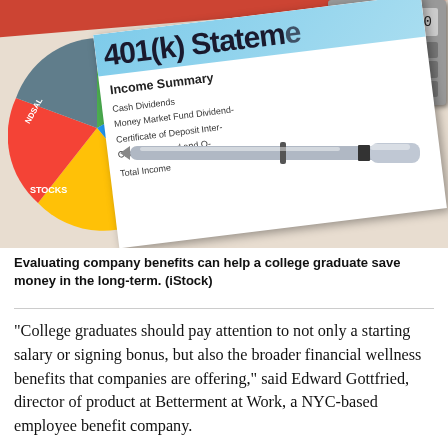[Figure (photo): A 401(k) Statement document showing Income Summary with items including Cash Dividends, Money Market Fund Dividends, Certificate of Deposit Interest, Corporate Bond and Other, and Total Income. A pen lies across the document. A pie chart showing investment allocations (Fixed Income, Stocks, Bonds) is visible to the left. A calculator is visible in the top right corner.]
Evaluating company benefits can help a college graduate save money in the long-term. (iStock)
"College graduates should pay attention to not only a starting salary or signing bonus, but also the broader financial wellness benefits that companies are offering," said Edward Gottfried, director of product at Betterment at Work, a NYC-based employee benefit company.